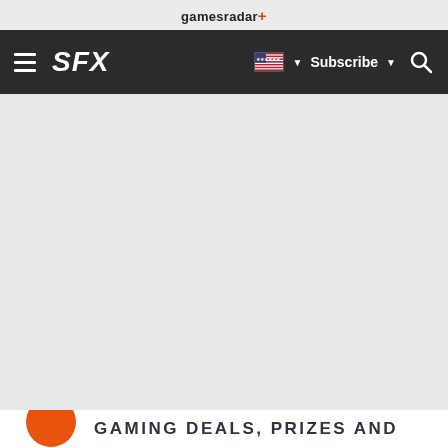gamesradar+
[Figure (screenshot): SFX website navigation bar with hamburger menu, SFX logo, US flag dropdown, Subscribe button, and search icon on dark background]
[Figure (other): Large gray blank content area]
GAMING DEALS, PRIZES AND